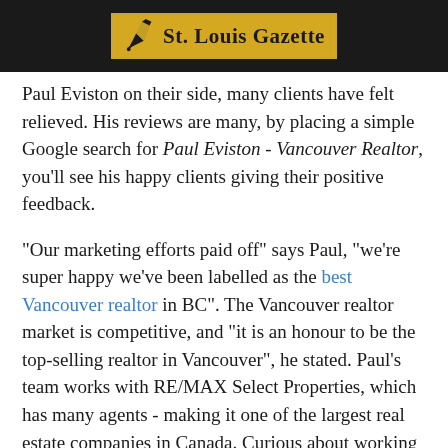St. Louis Gazette
Paul Eviston on their side, many clients have felt relieved. His reviews are many, by placing a simple Google search for Paul Eviston - Vancouver Realtor, you'll see his happy clients giving their positive feedback.
"Our marketing efforts paid off" says Paul, "we're super happy we've been labelled as the best Vancouver realtor in BC". The Vancouver realtor market is competitive, and "it is an honour to be the top-selling realtor in Vancouver", he stated. Paul's team works with RE/MAX Select Properties, which has many agents - making it one of the largest real estate companies in Canada. Curious about working with Paul and his team? His contact info is below.